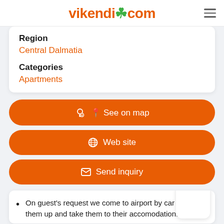vikendi.com
Region
Central Dalmatia
Categories
Apartments
See on map
Web site
Send inquiry
On guest's request we come to airport by car to pick them up and take them to their accomodation.